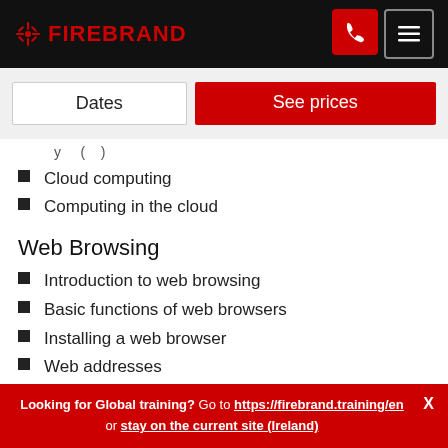FIREBRAND
Dates | See prices
Cloud computing
Computing in the cloud
Web Browsing
Introduction to web browsing
Basic functions of web browsers
Installing a web browser
Web addresses
Looking for Global training? Go to https://firebrand.training/en or stay on the current site (Ireland)  X